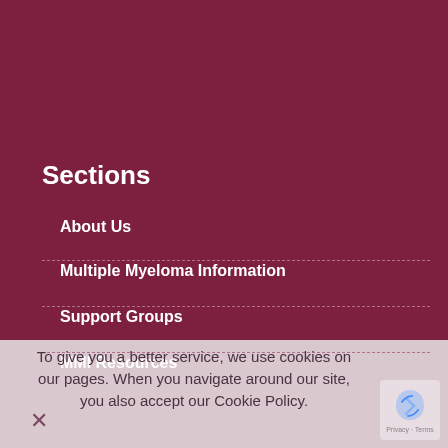Sections
About Us
Multiple Myeloma Information
Support Groups
MMI Resources
To give you a better service, we use cookies on our pages. When you navigate around our site, you also accept our Cookie Policy.